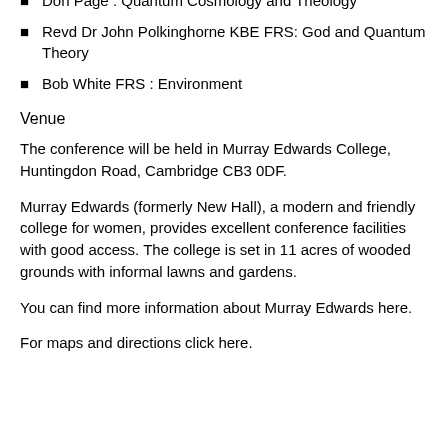Gerard Nienhuis : Interpretation of Quantum Theory & Theology
Don Page : Quantum Cosmology and Theology
Revd Dr John Polkinghorne KBE FRS: God and Quantum Theory
Bob White FRS : Environment
Venue
The conference will be held in Murray Edwards College, Huntingdon Road, Cambridge CB3 0DF.
Murray Edwards (formerly New Hall), a modern and friendly college for women, provides excellent conference facilities with good access. The college is set in 11 acres of wooded grounds with informal lawns and gardens.
You can find more information about Murray Edwards here.
For maps and directions click here.